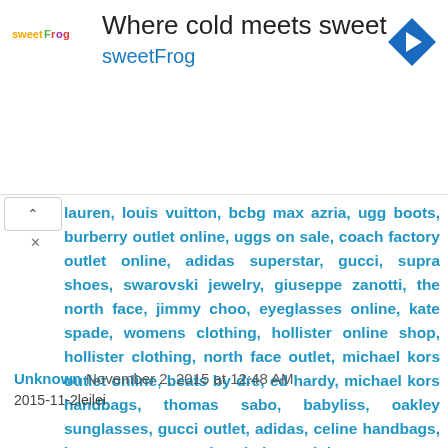[Figure (other): sweetFrog advertisement banner with logo, tagline 'Where cold meets sweet', brand name 'sweetFrog', and a blue navigation arrow icon]
lauren, louis vuitton, bcbg max azria, ugg boots, burberry outlet online, uggs on sale, coach factory outlet online, adidas superstar, gucci, supra shoes, swarovski jewelry, giuseppe zanotti, the north face, jimmy choo, eyeglasses online, kate spade, womens clothing, hollister online shop, hollister clothing, north face outlet, michael kors outlet online, beats by dre, ed hardy, michael kors handbags, thomas sabo, babyliss, oakley sunglasses, gucci outlet, adidas, celine handbags, hermes, toms outlet, hair straightener, soccer shoes,
Reply
Unknown November 2, 2015 at 12:48 AM
2015-11-2leilei